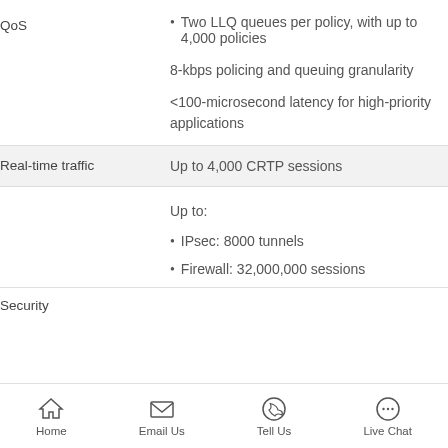| Feature | Details |
| --- | --- |
| QoS | • Two LLQ queues per policy, with up to 4,000 policies
8-kbps policing and queuing granularity
<100-microsecond latency for high-priority applications |
| Real-time traffic | Up to 4,000 CRTP sessions |
|  | Up to:
• IPsec: 8000 tunnels
• Firewall: 32,000,000 sessions |
| Security |  |
Home   Email Us   Tell Us   Live Chat